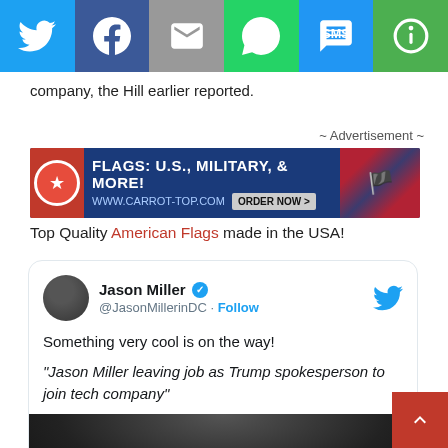[Figure (screenshot): Social media share bar with Twitter, Facebook, Email, WhatsApp, SMS, and other share buttons]
company, the Hill earlier reported.
~ Advertisement ~
[Figure (photo): Advertisement banner: FLAGS: U.S., MILITARY, & MORE! www.carrot-top.com ORDER NOW >]
Top Quality American Flags made in the USA!
[Figure (screenshot): Tweet by Jason Miller (@JasonMillerinDC) - verified account. Text: Something very cool is on the way! "Jason Miller leaving job as Trump spokesperson to join tech company". Includes a photo of a man looking downward.]